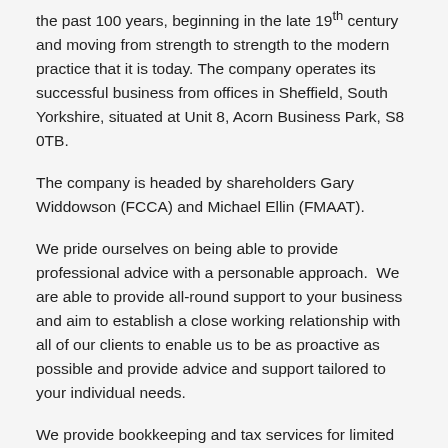the past 100 years, beginning in the late 19th century and moving from strength to strength to the modern practice that it is today. The company operates its successful business from offices in Sheffield, South Yorkshire, situated at Unit 8, Acorn Business Park, S8 0TB.
The company is headed by shareholders Gary Widdowson (FCCA) and Michael Ellin (FMAAT).
We pride ourselves on being able to provide professional advice with a personable approach.  We are able to provide all-round support to your business and aim to establish a close working relationship with all of our clients to enable us to be as proactive as possible and provide advice and support tailored to your individual needs.
We provide bookkeeping and tax services for limited companies, partnerships and sole traders, along with management accounts,